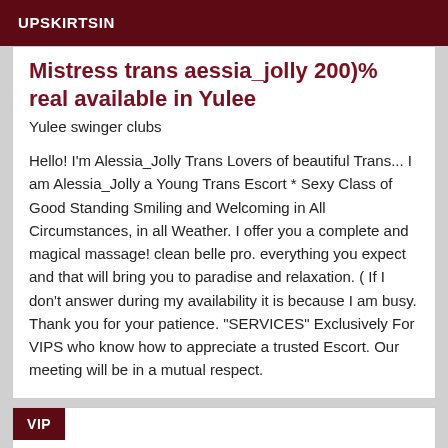UPSKIRTSIN
Mistress trans aessia_jolly 200)% real available in Yulee
Yulee swinger clubs
Hello! I'm Alessia_Jolly Trans Lovers of beautiful Trans... I am Alessia_Jolly a Young Trans Escort * Sexy Class of Good Standing Smiling and Welcoming in All Circumstances, in all Weather. I offer you a complete and magical massage! clean belle pro. everything you expect and that will bring you to paradise and relaxation. ( If I don't answer during my availability it is because I am busy. Thank you for your patience. "SERVICES" Exclusively For VIPS who know how to appreciate a trusted Escort. Our meeting will be in a mutual respect.
VIP